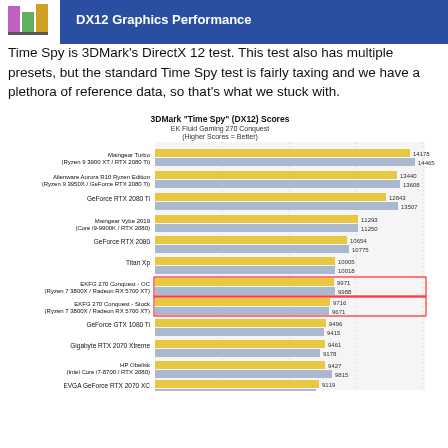DX12 Graphics Performance
Time Spy is 3DMark's DirectX 12 test. This test also has multiple presets, but the standard Time Spy test is fairly taxing and we have a plethora of reference data, so that's what we stuck with.
[Figure (bar-chart): 3DMark "Time Spy" (DX12) Scores — EK Fluid Gaming 270 Conquest (Higher Scores = Better)]